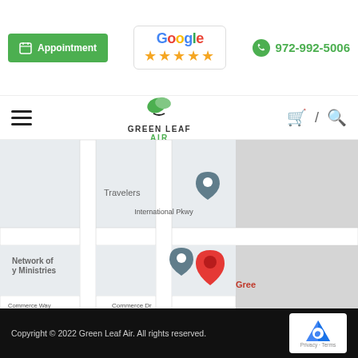[Figure (logo): Green appointment button with calendar icon, Google 5-star badge, and phone number 972-992-5006]
[Figure (logo): Green Leaf Air logo with leaf icon, hamburger menu, cart, slash, and search icons]
[Figure (map): Google Maps screenshot showing Green Leaf Air location near Commerce Dr, International Pkwy, with Restaurant Depot and Excel English Institute nearby]
Copyright © 2022 Green Leaf Air. All rights reserved.